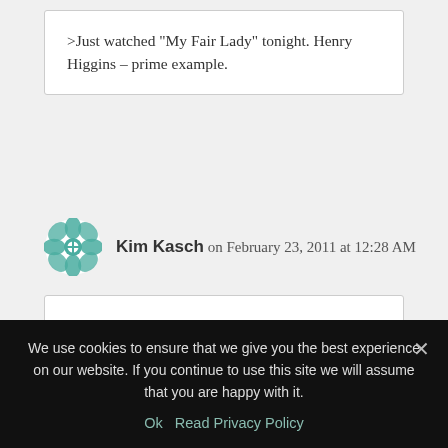>Just watched "My Fair Lady" tonight. Henry Higgins – prime example.
Kim Kasch on February 23, 2011 at 12:28 AM
>Mom always said, "Actions speak louder than words."

She was trying to teach us kids character – now your teaching us writers the same thing . . .only different.
We use cookies to ensure that we give you the best experience on our website. If you continue to use this site we will assume that you are happy with it.
Ok  Read Privacy Policy